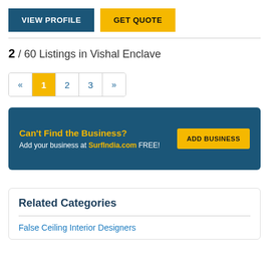[Figure (screenshot): Two buttons: VIEW PROFILE (dark blue) and GET QUOTE (yellow)]
2 / 60 Listings in Vishal Enclave
[Figure (screenshot): Pagination bar with « 1 2 3 » where 1 is highlighted in yellow]
[Figure (infographic): Dark blue banner: Can't Find the Business? Add your business at SurfIndia.com FREE! with ADD BUSINESS button]
Related Categories
False Ceiling Interior Designers